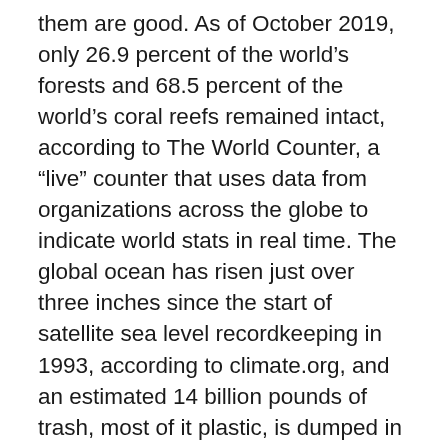them are good. As of October 2019, only 26.9 percent of the world’s forests and 68.5 percent of the world’s coral reefs remained intact, according to The World Counter, a “live” counter that uses data from organizations across the globe to indicate world stats in real time. The global ocean has risen just over three inches since the start of satellite sea level recordkeeping in 1993, according to climate.org, and an estimated 14 billion pounds of trash, most of it plastic, is dumped in the world’s oceans every year, a stat reported by seastewards.org. The latter is such a problem, in fact, that the “plastic soup”—the patches of garbage floating in the oceans—now covers more than 25 million square miles. If this were on land, it would be enough to cover the United States, China, India and Argentina, combined, with garbage. But it doesn’t end there. According to Project Kaisei, a nonprofit that focuses on marine